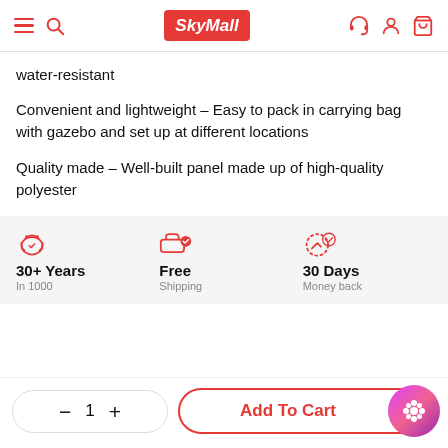SkyMall navigation header
water-resistant
Convenient and lightweight – Easy to pack in carrying bag with gazebo and set up at different locations
Quality made – Well-built panel made up of high-quality polyester
30+ Years | Free | 30 Days
Add To Cart — quantity selector with 1, minus and plus buttons